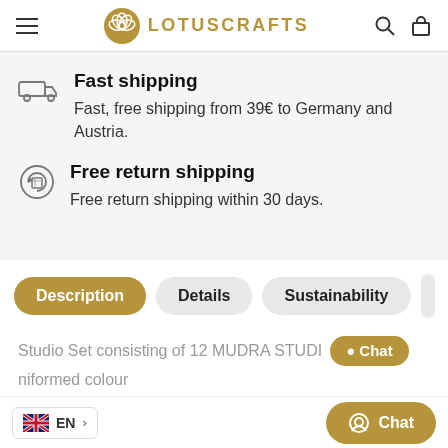LOTUSCRAFTS
Fast shipping
Fast, free shipping from 39€ to Germany and Austria.
Free return shipping
Free return shipping within 30 days.
Description | Details | Sustainability
Studio Set consisting of 12 MUDRA STUDIO... niformed colour